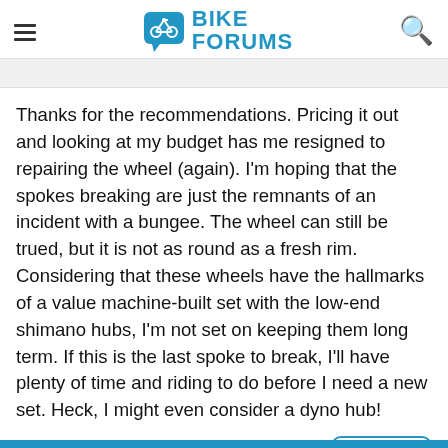BIKE FORUMS
Thanks for the recommendations. Pricing it out and looking at my budget has me resigned to repairing the wheel (again). I'm hoping that the spokes breaking are just the remnants of an incident with a bungee. The wheel can still be trued, but it is not as round as a fresh rim. Considering that these wheels have the hallmarks of a value machine-built set with the low-end shimano hubs, I'm not set on keeping them long term. If this is the last spoke to break, I'll have plenty of time and riding to do before I need a new set. Heck, I might even consider a dyno hub!
#28
cyccommute , 10-31-19 10:40 AM
Mad bike riding scientist